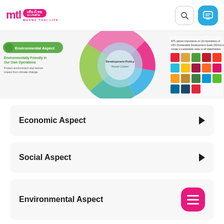MTL - Muang Thai Life header with logo, search icon, chat icon
[Figure (infographic): MTL sustainability infographic showing Environmental Aspect circle diagram with SDG icons and text about environmentally friendly operations]
Economic Aspect
Social Aspect
Environmental Aspect